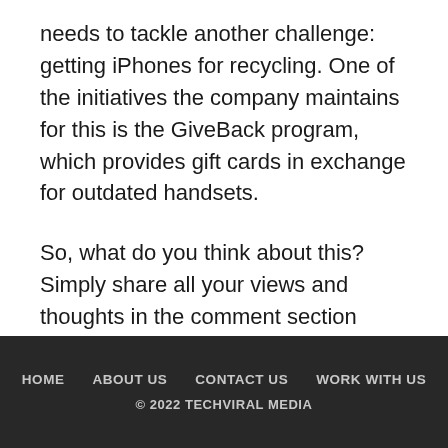needs to tackle another challenge: getting iPhones for recycling. One of the initiatives the company maintains for this is the GiveBack program, which provides gift cards in exchange for outdated handsets.
So, what do you think about this? Simply share all your views and thoughts in the comment section below.
HOME   ABOUT US   CONTACT US   WORK WITH US
© 2022 TECHVIRAL MEDIA